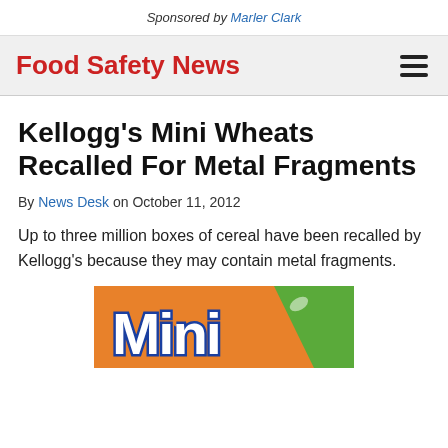Sponsored by Marler Clark
Food Safety News
Kellogg's Mini Wheats Recalled For Metal Fragments
By News Desk on October 11, 2012
Up to three million boxes of cereal have been recalled by Kellogg's because they may contain metal fragments.
[Figure (photo): Partial image of a Kellogg's Mini Wheats cereal box showing the word 'Mini' in blue stylized letters on an orange and green background]